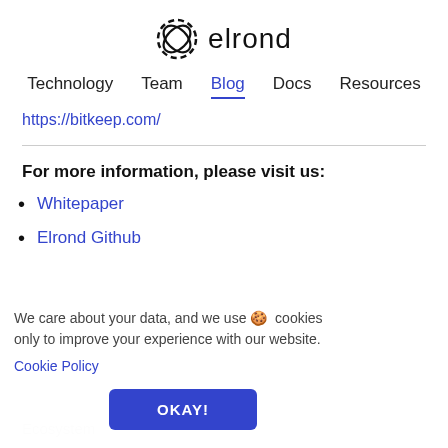elrond — Technology | Team | Blog | Docs | Resources
https://bitkeep.com/
For more information, please visit us:
Whitepaper
Elrond Github
We care about your data, and we use 🍪 cookies only to improve your experience with our website.
Cookie Policy
OKAY!